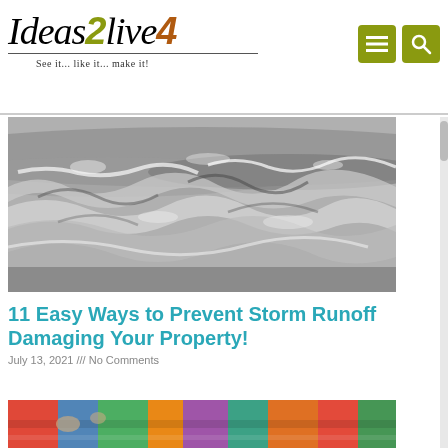[Figure (logo): Ideas2live4 logo with tagline 'See it... like it... make it!']
[Figure (photo): Black and white photo of turbulent flood water / storm runoff]
11 Easy Ways to Prevent Storm Runoff Damaging Your Property!
July 13, 2021 /// No Comments
[Figure (photo): Partial colorful photo at the bottom of the page showing crafts or fabric]